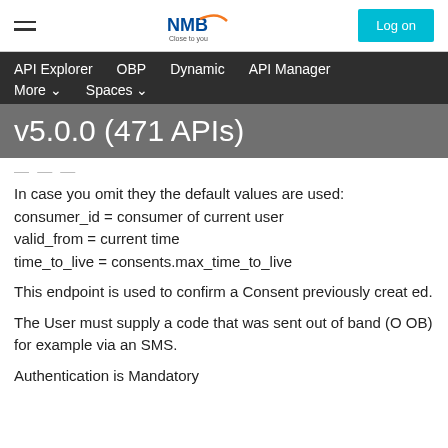NMB Close to you — Log on
API Explorer   OBP   Dynamic   API Manager   More ∨   Spaces ∨
v5.0.0 (471 APIs)
In case you omit they the default values are used:
consumer_id = consumer of current user
valid_from = current time
time_to_live = consents.max_time_to_live
This endpoint is used to confirm a Consent previously created.
The User must supply a code that was sent out of band (OOB) for example via an SMS.
Authentication is Mandatory